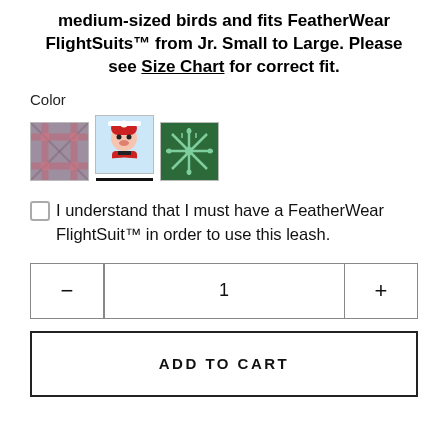medium-sized birds and fits FeatherWear FlightSuits™ from Jr. Small to Large. Please see Size Chart for correct fit.
Color
[Figure (photo): Three color swatch thumbnails: plaid pattern, Santa Claus print, and snowflake/geometric pattern. The Santa swatch has a selection underline bar beneath it.]
I understand that I must have a FeatherWear FlightSuit™ in order to use this leash.
1
ADD TO CART